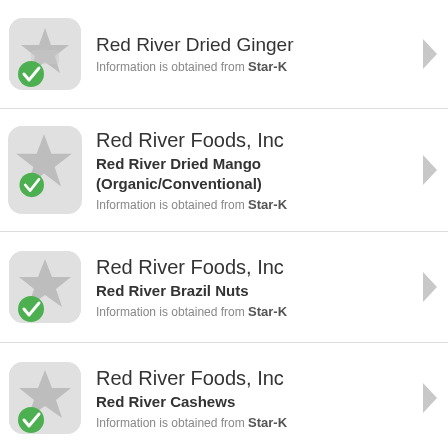Red River Dried Ginger — Red River Foods, Inc — Information is obtained from Star-K
Red River Foods, Inc — Red River Dried Mango (Organic/Conventional) — Information is obtained from Star-K
Red River Foods, Inc — Red River Brazil Nuts — Information is obtained from Star-K
Red River Foods, Inc — Red River Cashews — Information is obtained from Star-K
(partial row visible)